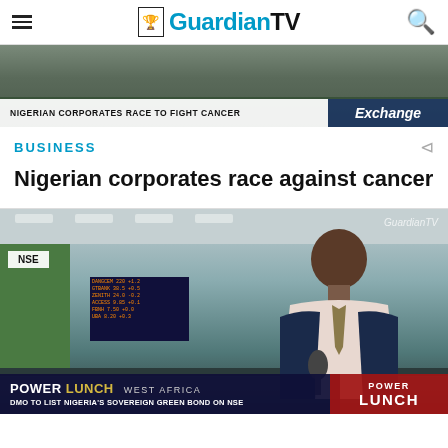Guardian TV
[Figure (screenshot): Video thumbnail showing a lower-third banner reading 'NIGERIAN CORPORATES RACE TO FIGHT CANCER' with 'Exchange' branding on the right]
BUSINESS
Nigerian corporates race against cancer
[Figure (screenshot): Video thumbnail of a TV studio interview at NSE (Nigerian Stock Exchange). A man in a suit is being interviewed. Lower-third bar reads 'POWER LUNCH WEST AFRICA' and 'DMO TO LIST NIGERIA'S SOVEREIGN GREEN BOND ON NSE'. Right side shows 'POWER LUNCH' branding. GuardianTV watermark in top-right.]